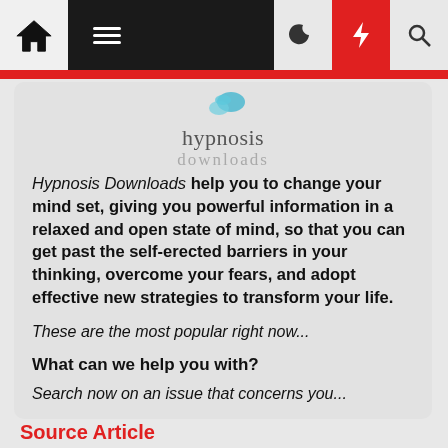Navigation bar with home, menu, moon, bolt, and search icons
[Figure (logo): Hypnosis Downloads logo with teal bird/leaf icon above text reading 'hypnosis downloads']
Hypnosis Downloads help you to change your mind set, giving you powerful information in a relaxed and open state of mind, so that you can get past the self-erected barriers in your thinking, overcome your fears, and adopt effective new strategies to transform your life.
These are the most popular right now...
What can we help you with?
Search now on an issue that concerns you...
Source Article